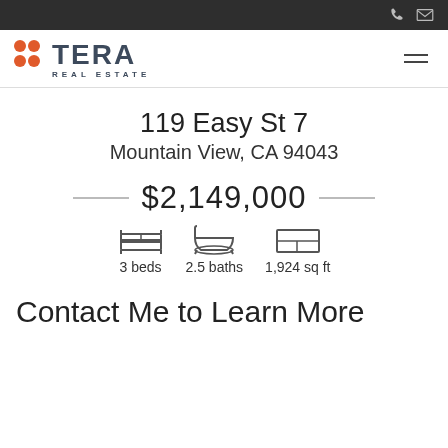Tera Real Estate — navigation bar with phone and email icons
[Figure (logo): Tera Real Estate logo with orange dot grid and stylized TERA text above 'REAL ESTATE' subtitle]
119 Easy St 7
Mountain View, CA 94043
$2,149,000
[Figure (infographic): Three icons: bed icon for 3 beds, bathtub icon for 2.5 baths, floor plan icon for 1,924 sq ft]
3 beds   2.5 baths   1,924 sq ft
Contact Me to Learn More